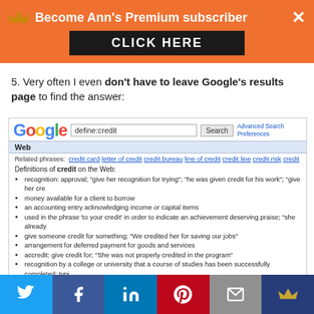[Figure (screenshot): Orange promotional banner: 'Become Ann's Premium subscriber' with crown icon and 'CLICK HERE' button]
5. Very often I even don't have to leave Google's results page to find the answer:
[Figure (screenshot): Google search results screenshot showing 'define:credit' search with related phrases and definitions of credit listed as bullet points]
[Figure (infographic): Social sharing bar with Twitter, Facebook, LinkedIn, Pinterest, Email, and Crown buttons]